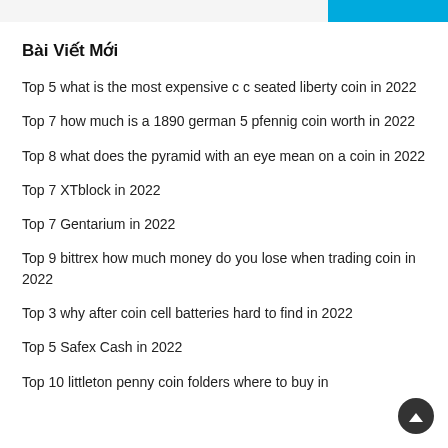Bài Viết Mới
Top 5 what is the most expensive c c seated liberty coin in 2022
Top 7 how much is a 1890 german 5 pfennig coin worth in 2022
Top 8 what does the pyramid with an eye mean on a coin in 2022
Top 7 XTblock in 2022
Top 7 Gentarium in 2022
Top 9 bittrex how much money do you lose when trading coin in 2022
Top 3 why after coin cell batteries hard to find in 2022
Top 5 Safex Cash in 2022
Top 10 littleton penny coin folders where to buy in